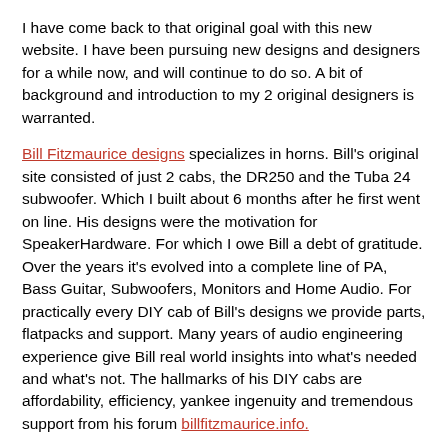speaker cabinets just kind of overwhelmed the original goal.
I have come back to that original goal with this new website. I have been pursuing new designs and designers for a while now, and will continue to do so. A bit of background and introduction to my 2 original designers is warranted.
Bill Fitzmaurice designs specializes in horns. Bill's original site consisted of just 2 cabs, the DR250 and the Tuba 24 subwoofer. Which I built about 6 months after he first went on line. His designs were the motivation for SpeakerHardware. For which I owe Bill a debt of gratitude. Over the years it's evolved into a complete line of PA, Bass Guitar, Subwoofers, Monitors and Home Audio. For practically every DIY cab of Bill's designs we provide parts, flatpacks and support. Many years of audio engineering experience give Bill real world insights into what's needed and what's not. The hallmarks of his DIY cabs are affordability, efficiency, yankee ingenuity and tremendous support from his forum billfitzmaurice.info.
Dave greenboy Green was the second designer to come on board. Dave designed a series of bass guitar plans called the fEARfuls and just released them to the world for free. After a couple of builders of fEARful greenboy bass cabs approached me about supplying them parts, I asked Dave for permission to sell kits based on his plans. Extensively tested, tweaked and used by Dave himself before releasing, they represent a true boutique DIY bass guitar cabinet. The